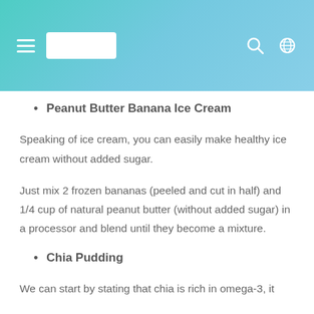Peanut Butter Banana Ice Cream
Speaking of ice cream, you can easily make healthy ice cream without added sugar.
Just mix 2 frozen bananas (peeled and cut in half) and 1/4 cup of natural peanut butter (without added sugar) in a processor and blend until they become a mixture.
Chia Pudding
We can start by stating that chia is rich in omega-3, it